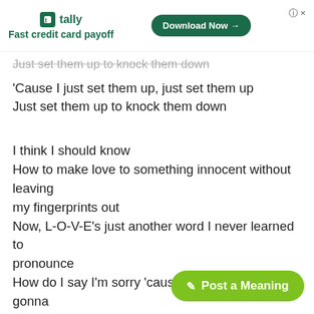[Figure (other): Tally app advertisement banner with logo, 'Fast credit card payoff' tagline, and 'Download Now' button with close/help icons]
Just set them up to knock them down (faded/partial line at top)
'Cause I just set them up, just set them up
Just set them up to knock them down
I think I should know
How to make love to something innocent without leaving my fingerprints out
Now, L-O-V-E's just another word I never learned to pronounce
How do I say I'm sorry 'cause the word is never gonna come out
Now, L-O-V-E's just another word I never learned to pronounce
Push it baby, push it baby, out of control
I got my gun cocked tight and I'm...
Push it baby, push it baby, out of control
[Figure (other): Green 'Post a Meaning' button in bottom right corner]